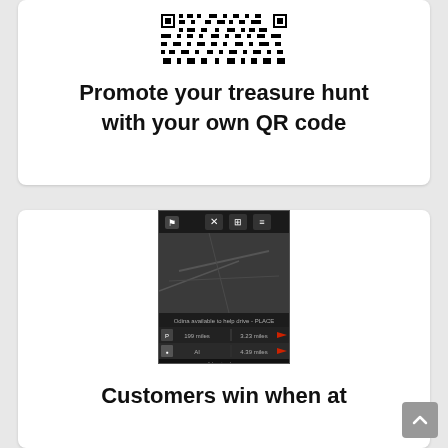[Figure (screenshot): QR code image partial view at top of card]
Promote your treasure hunt with your own QR code
[Figure (screenshot): Mobile app screenshot showing a dark map interface with navigation controls and Adventurebase branding]
Customers win when at